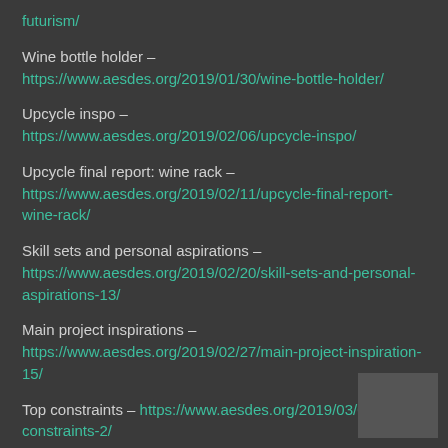futurism/ – https://www.aesdes.org/...futurism/
Wine bottle holder – https://www.aesdes.org/2019/01/30/wine-bottle-holder/
Upcycle inspo – https://www.aesdes.org/2019/02/06/upcycle-inspo/
Upcycle final report: wine rack – https://www.aesdes.org/2019/02/11/upcycle-final-report-wine-rack/
Skill sets and personal aspirations – https://www.aesdes.org/2019/02/20/skill-sets-and-personal-aspirations-13/
Main project inspirations – https://www.aesdes.org/2019/02/27/main-project-inspiration-15/
Top constraints – https://www.aesdes.org/2019/03/06/top-constraints-2/
Design review: bauhaus shelf – https://www.aesdes.org/2019/03/11/design-review-bauhaus-shelf/